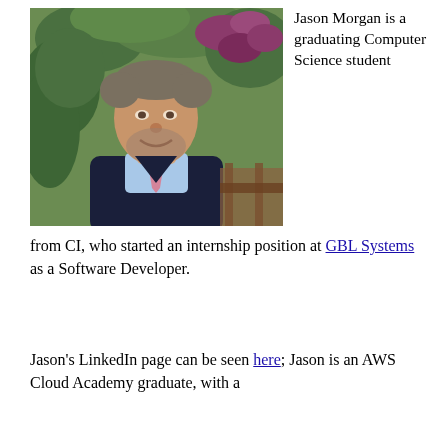[Figure (photo): Headshot of Jason Morgan, a man with gray-streaked hair and a beard, wearing a navy vest over a light blue shirt with a pink tie, smiling outdoors in front of green foliage and purple flowers.]
Jason Morgan is a graduating Computer Science student from CI, who started an internship position at GBL Systems as a Software Developer.
Jason's LinkedIn page can be seen here; Jason is an AWS Cloud Academy graduate, with a